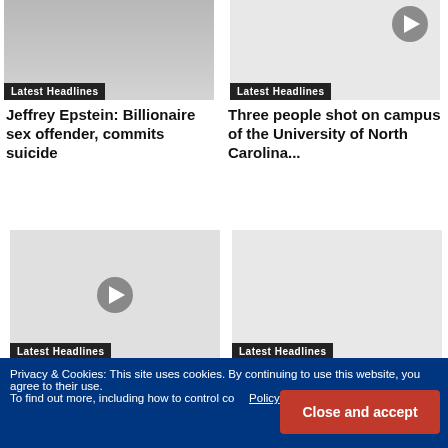[Figure (photo): News thumbnail with person silhouette, Latest Headlines badge]
[Figure (other): News thumbnail with play button, Latest Headlines badge]
Jeffrey Epstein: Billionaire sex offender, commits suicide
Three people shot on campus of the University of North Carolina...
[Figure (other): News thumbnail with play button, Latest Headlines badge]
[Figure (photo): News thumbnail, Latest Headlines badge]
Oxford Union applauds as Tory MP boasts about the
Young people will not forgive or forget Tory austerity,
Privacy & Cookies: This site uses cookies. By continuing to use this website, you agree to their use.
To find out more, including how to control co… Policy
Close and accept